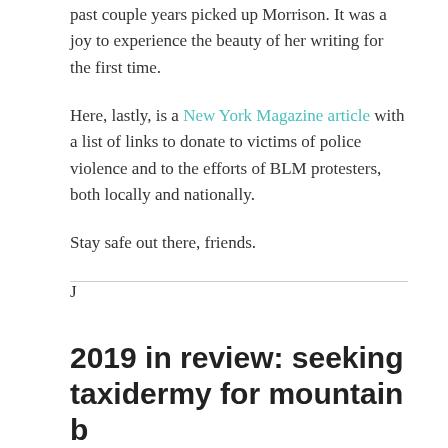past couple years picked up Morrison. It was a joy to experience the beauty of her writing for the first time.
Here, lastly, is a New York Magazine article with a list of links to donate to victims of police violence and to the efforts of BLM protesters, both locally and nationally.
Stay safe out there, friends.
J
2019 in review: seeking taxidermy for mountain b...